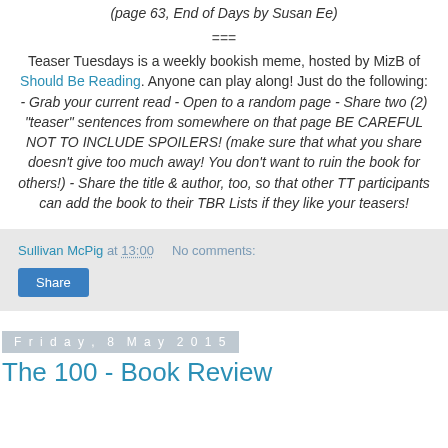(page 63, End of Days by Susan Ee)
===
Teaser Tuesdays is a weekly bookish meme, hosted by MizB of Should Be Reading. Anyone can play along! Just do the following: - Grab your current read - Open to a random page - Share two (2) “teaser” sentences from somewhere on that page BE CAREFUL NOT TO INCLUDE SPOILERS! (make sure that what you share doesn’t give too much away! You don’t want to ruin the book for others!) - Share the title & author, too, so that other TT participants can add the book to their TBR Lists if they like your teasers!
Sullivan McPig at 13:00   No comments:
Share
Friday, 8 May 2015
The 100 - Book Review